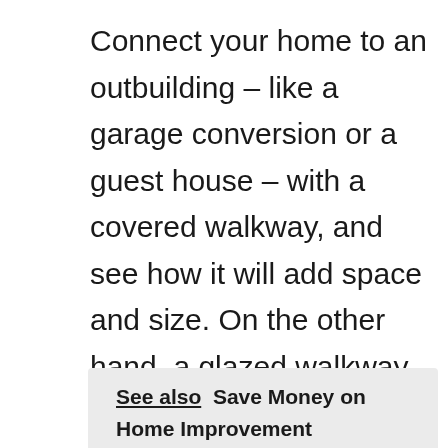Connect your home to an outbuilding – like a garage conversion or a guest house – with a covered walkway, and see how it will add space and size. On the other hand, a glazed walkway can be a great solution to planning restrictions, such as listed buildings where solid links would be inappropriate.
See also  Save Money on Home Improvement